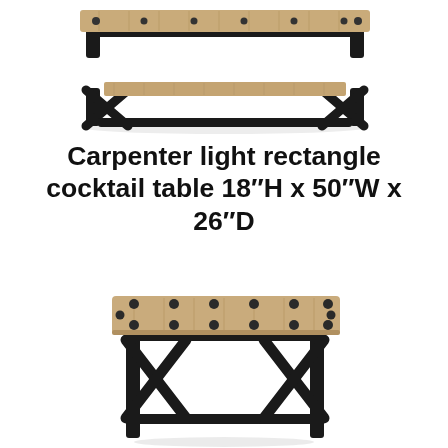[Figure (photo): Carpenter light rectangle cocktail table with dark metal X-frame legs and lower shelf with rustic light wood top, viewed from above at an angle]
Carpenter light rectangle cocktail table 18″H x 50″W x 26″D
[Figure (photo): Carpenter end table with dark metal X-frame legs and rustic light wood top with decorative bolt details, viewed from above at an angle]